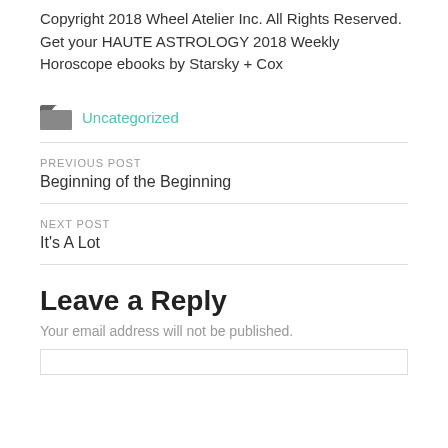Copyright 2018 Wheel Atelier Inc. All Rights Reserved. Get your HAUTE ASTROLOGY 2018 Weekly Horoscope ebooks by Starsky + Cox
Uncategorized
PREVIOUS POST
Beginning of the Beginning
NEXT POST
It's A Lot
Leave a Reply
Your email address will not be published.